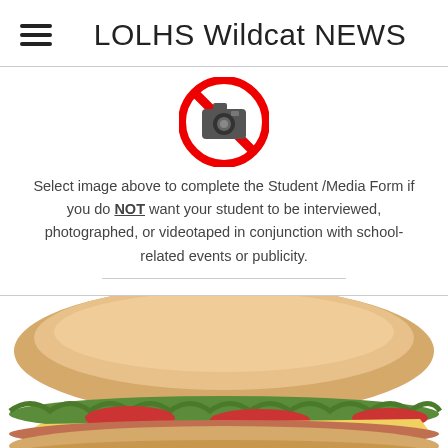LOLHS Wildcat NEWS
[Figure (illustration): A red prohibition/no sign circle with a camera icon inside it, indicating no photography]
Select image above to complete the Student /Media Form if you do NOT want your student to be interviewed, photographed, or videotaped in conjunction with school-related events or publicity.
[Figure (illustration): A large illustrated submarine sandwich (hoagie/sub) with bun, lettuce, tomato, and other toppings, partially cropped at bottom of page]